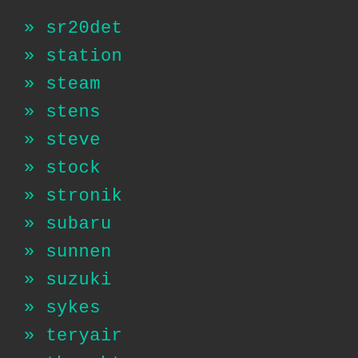» sr20det
» station
» steam
» stens
» steve
» stock
» stronik
» subaru
» sunnen
» suzuki
» sykes
» teryair
» thoughts
» three